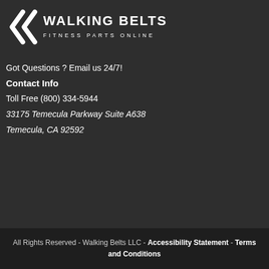[Figure (logo): Walking Belts Fitness Parts Online logo with two arrow chevrons on the left and bold text WALKING BELTS with FITNESS PARTS ONLINE subtitle]
Got Questions ? Email us 24/7!
Contact Info
Toll Free (800) 334-5944
33175 Temecula Parkway Suite A638
Temecula, CA 92592
All Rights Reserved - Walking Belts LLC - Accessibility Statement - Terms and Conditions